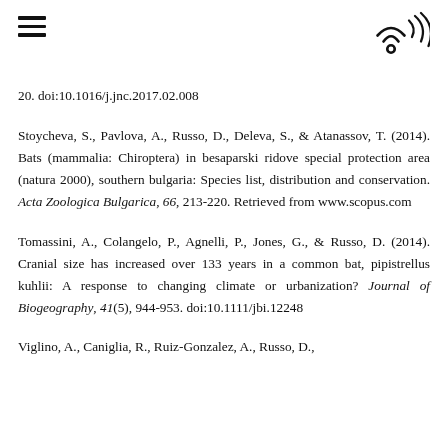≡  [logo]
20. doi:10.1016/j.jnc.2017.02.008
Stoycheva, S., Pavlova, A., Russo, D., Deleva, S., & Atanassov, T. (2014). Bats (mammalia: Chiroptera) in besaparski ridove special protection area (natura 2000), southern bulgaria: Species list, distribution and conservation. Acta Zoologica Bulgarica, 66, 213-220. Retrieved from www.scopus.com
Tomassini, A., Colangelo, P., Agnelli, P., Jones, G., & Russo, D. (2014). Cranial size has increased over 133 years in a common bat, pipistrellus kuhlii: A response to changing climate or urbanization? Journal of Biogeography, 41(5), 944-953. doi:10.1111/jbi.12248
Viglino, A., Caniglia, R., Ruiz-Gonzalez, A., Russo, D.